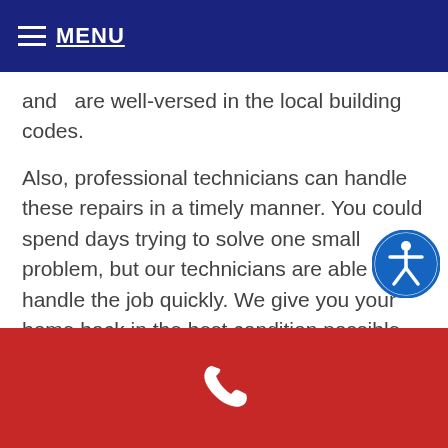MENU
and  are well-versed in the local building codes.
Also, professional technicians can handle these repairs in a timely manner. You could spend days trying to solve one small problem, but our technicians are able to handle the job quickly. We give you your home back in the best condition possible. Also, we allow you the opportunity u your home as normal. Our professional electricians are insured bonded and come with their own tools. They have years of experience and work hard to make sure the wiring in your home is safe once again.
[Figure (other): Accessibility icon - blue circle with white person figure and accessibility symbol]
Phone icon in red footer bar